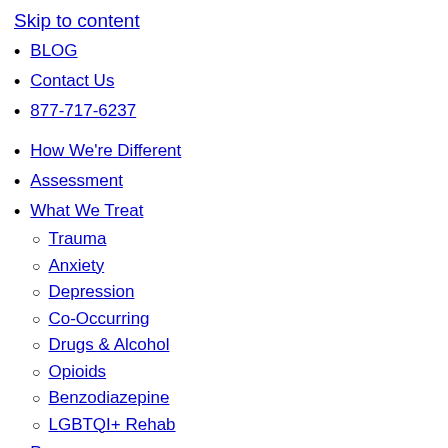Skip to content
BLOG
Contact Us
877-717-6237
How We're Different
Assessment
What We Treat
Trauma
Anxiety
Depression
Co-Occurring
Drugs & Alcohol
Opioids
Benzodiazepine
LGBTQI+ Rehab
Programs
Family Healing
Clinical Program
Trauma-Focused Program
Brain Technology Program